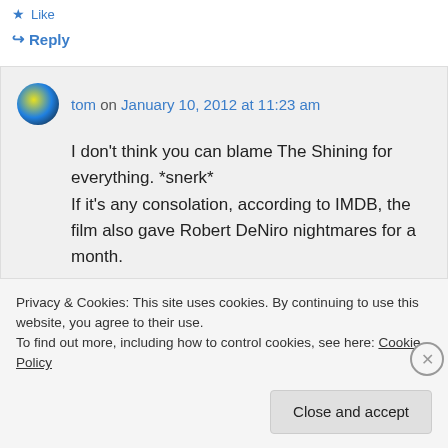Like
Reply
tom on January 10, 2012 at 11:23 am
I don't think you can blame The Shining for everything. *snerk* If it's any consolation, according to IMDB, the film also gave Robert DeNiro nightmares for a month.
Privacy & Cookies: This site uses cookies. By continuing to use this website, you agree to their use.
To find out more, including how to control cookies, see here: Cookie Policy
Close and accept